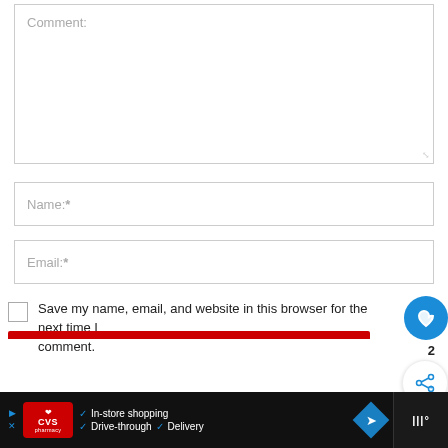Comment:
Name:*
Email:*
Save my name, email, and website in this browser for the next time I comment.
[Figure (screenshot): CVS Pharmacy advertisement banner with in-store shopping, drive-through, and delivery options]